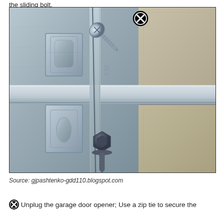the sliding bolt.
[Figure (photo): Close-up photograph of garage door hardware showing metal brackets with n-shaped and oval holes, a vertical wire/rod, a silver screw in upper left area, a dark hex-head screw in lower center, and a circle-X icon at the top center of the image.]
Source: gjpashtenko-gdd110.blogspot.com
Unplug the garage door opener; Use a zip tie to secure the